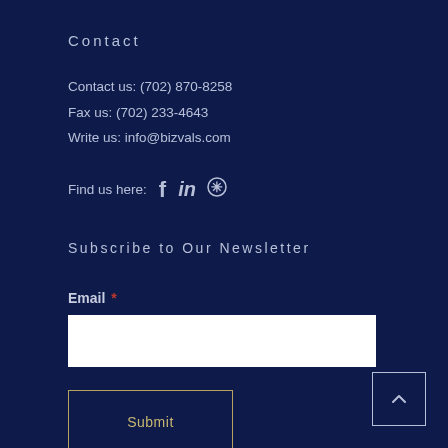Contact
Contact us: (702) 870-8258
Fax us: (702) 233-4643
Write us: info@bizvals.com
Find us here: [Facebook] [LinkedIn] [Yelp]
Subscribe to Our Newsletter
Email *
Submit